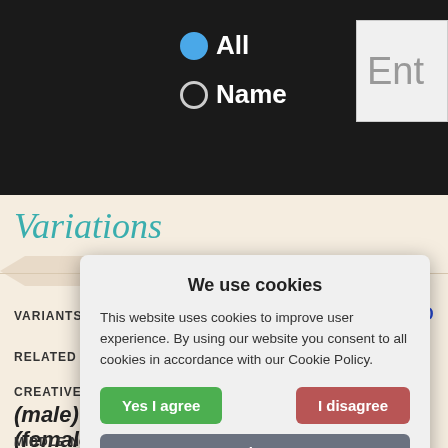[Figure (screenshot): Dark header bar with 'All' radio (selected) and 'Name' radio option, and a partially visible text entry box]
Variations
VARIANTS   Dorryen, Dorrien, Dorrian, Do...
RELATED   D...
CREATIVE FORMS
(male)  Show ▼
(female)  Show ▼
MIDDLE NAME PAIRINGS
[Figure (screenshot): Cookie consent dialog overlay: 'We use cookies' title, explanation text, 'Yes I agree' (green), 'I disagree' (red), 'Read more' (grey) buttons, and 'Free cookie consent by cookie-script.com' footer]